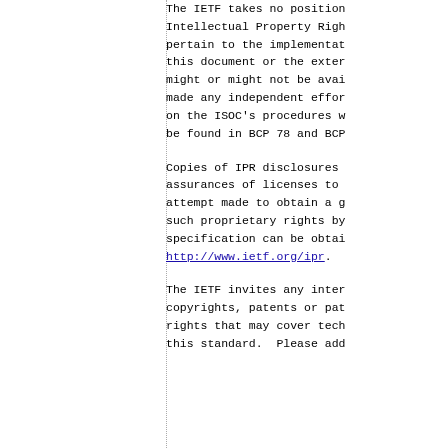The IETF takes no position regarding the validity or scope of any Intellectual Property Rights or other rights that might or might not be available to implement this document or the extent to which any license under such rights might or might not be available; nor has it made any independent effort to identify any such rights. Information on the ISOC's procedures with respect to rights in ISOC documents can be found in BCP 78 and BCP 79.
Copies of IPR disclosures made to the IETF Secretariat and any assurances of licenses to be made available, or the result of an attempt made to obtain a general license or permission for the use of such proprietary rights by implementors or users of this specification can be obtained from the IETF on-line IPR repository at http://www.ietf.org/ipr.
The IETF invites any interested party to bring to its attention any copyrights, patents or patent applications, or other proprietary rights that may cover technology that may be required to implement this standard.  Please address the information to the IETF at ietf-ipr@ietf.org.